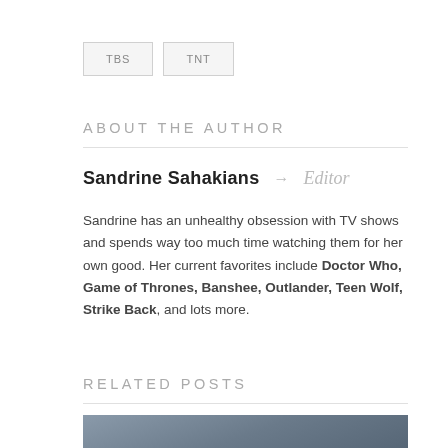TBS
TNT
ABOUT THE AUTHOR
Sandrine Sahakians → Editor
Sandrine has an unhealthy obsession with TV shows and spends way too much time watching them for her own good. Her current favorites include Doctor Who, Game of Thrones, Banshee, Outlander, Teen Wolf, Strike Back, and lots more.
RELATED POSTS
[Figure (photo): Group photo of several people standing outside a building]